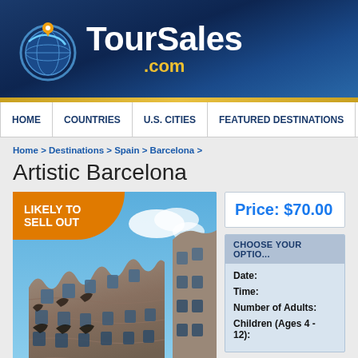[Figure (logo): TourSales.com logo with globe icon on dark blue banner background]
HOME | COUNTRIES | U.S. CITIES | FEATURED DESTINATIONS | TRAVE...
Home > Destinations > Spain > Barcelona >
Artistic Barcelona
[Figure (photo): Likely to sell out badge overlaid on photo of Gaudi architecture in Barcelona (Casa Milà / La Pedrera) with wavy stone facade and blue sky]
larger photo
Alternative Views:
Price: $70.00
CHOOSE YOUR OPTIO...
Date:
Time:
Number of Adults:
Children (Ages 4 - 12):